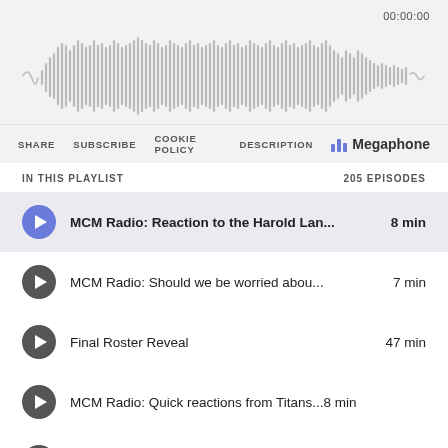[Figure (other): Audio waveform visualization with timestamp 00:00:00 showing gray vertical bars of varying heights representing audio amplitude]
SHARE  SUBSCRIBE  COOKIE POLICY  DESCRIPTION  Megaphone
IN THIS PLAYLIST  205 EPISODES
MCM Radio: Reaction to the Harold Lan... 8 min
MCM Radio: Should we be worried abou... 7 min
Final Roster Reveal  47 min
MCM Radio: Quick reactions from Titans...8 min
MCM Radio: Recapping Malik Willis's d... 10 min